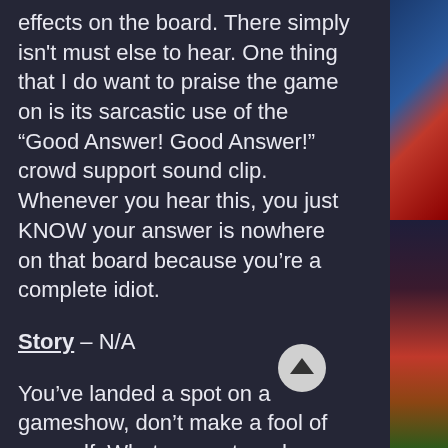only some clapping, and a few sound effects on the board. There simply isn't must else to hear. One thing that I do want to praise the game on is its sarcastic use of the “Good Answer! Good Answer!” crowd support sound clip. Whenever you hear this, you just KNOW your answer is nowhere on that board because you’re a complete idiot.
Story – N/A
You’ve landed a spot on a gameshow, don’t make a fool of yourself. What more story do you need?
Total Playtime – N/A